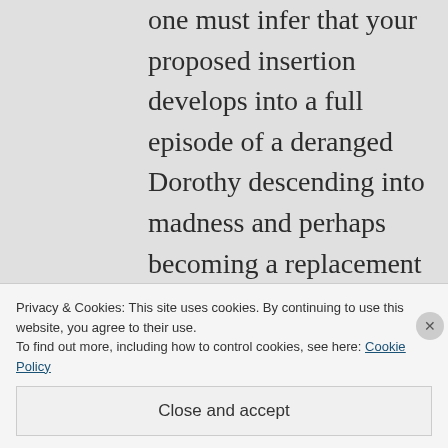one must infer that your proposed insertion develops into a full episode of a deranged Dorothy descending into madness and perhaps becoming a replacement for the wicked witch of the west, and needing to be rescued yet again by her friends and restored to sanity and humanity, in order to rejoin the story at the ending with
Privacy & Cookies: This site uses cookies. By continuing to use this website, you agree to their use.
To find out more, including how to control cookies, see here: Cookie Policy
Close and accept